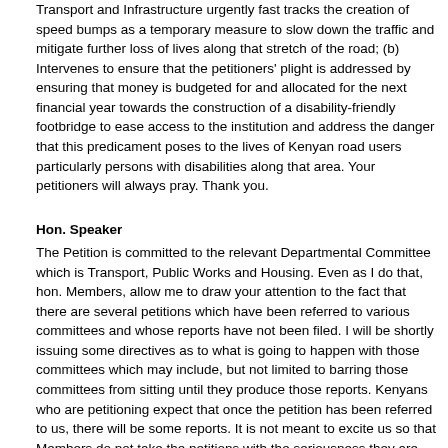Transport and Infrastructure urgently fast tracks the creation of speed bumps as a temporary measure to slow down the traffic and mitigate further loss of lives along that stretch of the road; (b) Intervenes to ensure that the petitioners' plight is addressed by ensuring that money is budgeted for and allocated for the next financial year towards the construction of a disability-friendly footbridge to ease access to the institution and address the danger that this predicament poses to the lives of Kenyan road users particularly persons with disabilities along that area. Your petitioners will always pray. Thank you.
Hon. Speaker
The Petition is committed to the relevant Departmental Committee which is Transport, Public Works and Housing. Even as I do that, hon. Members, allow me to draw your attention to the fact that there are several petitions which have been referred to various committees and whose reports have not been filed. I will be shortly issuing some directives as to what is going to happen with those committees which may include, but not limited to barring those committees from sitting until they produce those reports. Kenyans who are petitioning expect that once the petition has been referred to us, there will be some reports. It is not meant to excite us so that Members do not take the petitions with the seriousness they are accorded. So there...